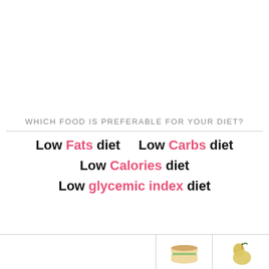WHICH FOOD IS PREFERABLE FOR YOUR DIET?
Low Fats diet    Low Carbs diet
Low Calories diet
Low glycemic index diet
|  |  |  |
| --- | --- | --- |
|  | [sandwich image] | [pear image] |
| Low Fats diet |  |  |